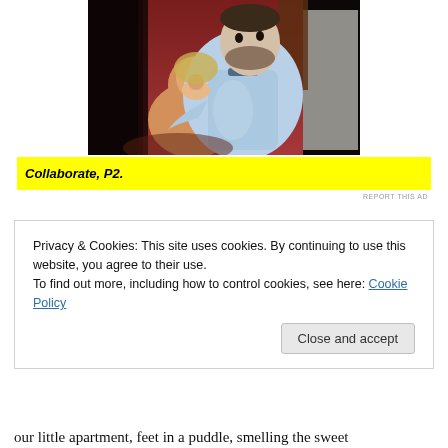[Figure (photo): Two people hugging and smiling; a man with a beard wearing a light blue polo shirt embracing a woman, indoors with a pink/red wall and wooden furniture in the background.]
Collaborate, P2.
REPORT THIS AD
Privacy & Cookies: This site uses cookies. By continuing to use this website, you agree to their use.
To find out more, including how to control cookies, see here: Cookie Policy
Close and accept
our little apartment, feet in a puddle, smelling the sweet